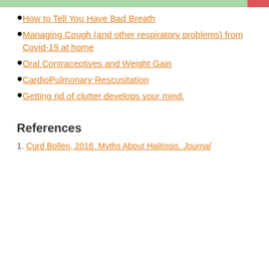How to Tell You Have Bad Breath
Managing Cough (and other respiratory problems) from Covid-19 at home
Oral Contraceptives and Weight Gain
CardioPulmonary Rescusitation
Getting rid of clutter develops your mind.
References
Curd Bollen, 2016. Myths About Halitosis. Journal